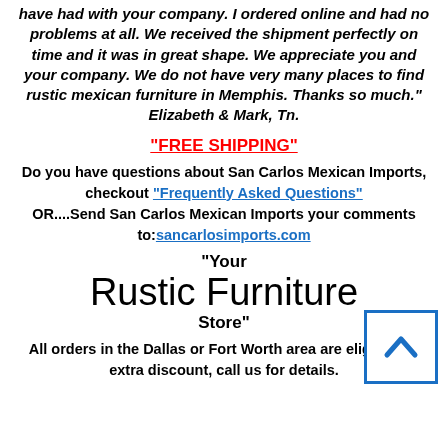have had with your company. I ordered online and had no problems at all. We received the shipment perfectly on time and it was in great shape. We appreciate you and your company. We do not have very many places to find rustic mexican furniture in Memphis. Thanks so much." Elizabeth & Mark, Tn.
"FREE SHIPPING"
Do you have questions about San Carlos Mexican Imports, checkout "Frequently Asked Questions" OR....Send San Carlos Mexican Imports your comments to:sancarlosimports.com
"Your Rustic Furniture Store"
All orders in the Dallas or Fort Worth area are eligible for extra discount, call us for details.